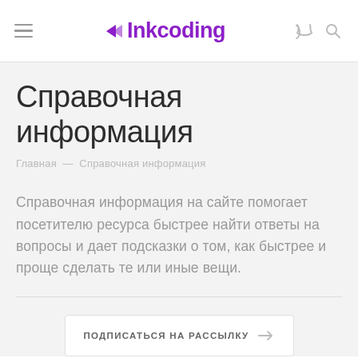≡ Inkcoding (logo) phone search
Справочная информация
Главная — Справочная информация
Справочная информация на сайте помогает посетителю ресурса быстрее найти ответы на вопросы и дает подсказки о том, как быстрее и проще сделать те или иные вещи.
ПОДПИСАТЬСЯ НА РАССЫЛКУ